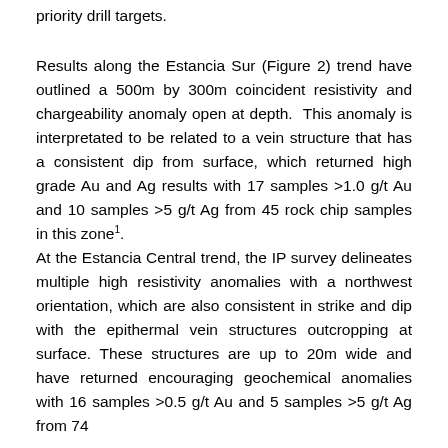priority drill targets.
Results along the Estancia Sur (Figure 2) trend have outlined a 500m by 300m coincident resistivity and chargeability anomaly open at depth.  This anomaly is interpretated to be related to a vein structure that has a consistent dip from surface, which returned high grade Au and Ag results with 17 samples >1.0 g/t Au and 10 samples >5 g/t Ag from 45 rock chip samples in this zone1.
At the Estancia Central trend, the IP survey delineates multiple high resistivity anomalies with a northwest orientation, which are also consistent in strike and dip with the epithermal vein structures outcropping at surface. These structures are up to 20m wide and have returned encouraging geochemical anomalies with 16 samples >0.5 g/t Au and 5 samples >5 g/t Ag from 74